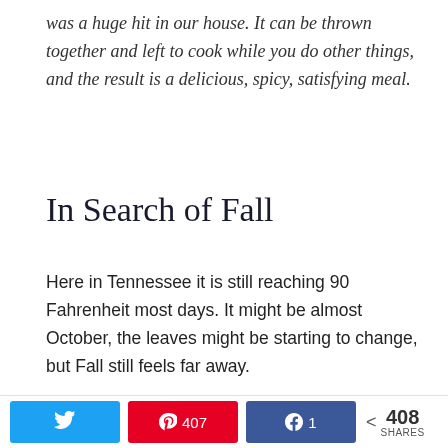was a huge hit in our house.  It can be thrown together and left to cook while you do other things, and the result is a delicious, spicy, satisfying meal.
In Search of Fall
Here in Tennessee it is still reaching 90 Fahrenheit most days.  It might be almost October, the leaves might be starting to change, but Fall still feels far away.
I grew up in Florida, so the changing of the seasons never ceases to amaze me.  And here in the
Twitter | Pinterest 407 | Facebook 1 | < 408 SHARES